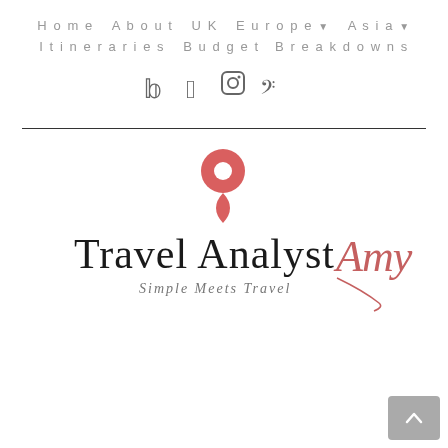Home  About  UK  Europe▾  Asia▾  Itineraries  Budget Breakdowns
[Figure (infographic): Social media icons: Twitter bird, Pinterest P, Instagram camera, TikTok musical note]
[Figure (logo): Travel Analyst Amy logo with red location pin icon above text 'Travel Analyst Amy' and cursive 'Amy' signature in red, tagline 'Simple Meets Travel']